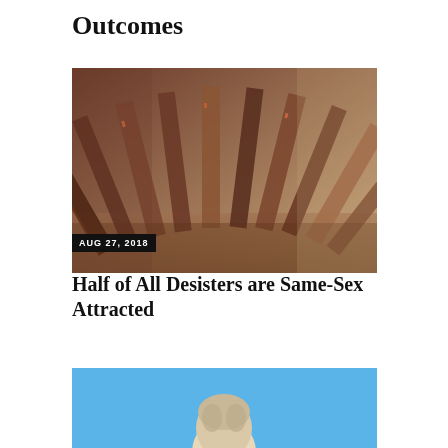Outcomes
[Figure (photo): Close-up photograph of books standing on a shelf, spines fanned out, warm brown tones.]
AUG 27, 2018
Half of All Desisters are Same-Sex Attracted
[Figure (photo): Bottom portion of a second article image showing a blue sky background with the top of a sculpture or statue.]